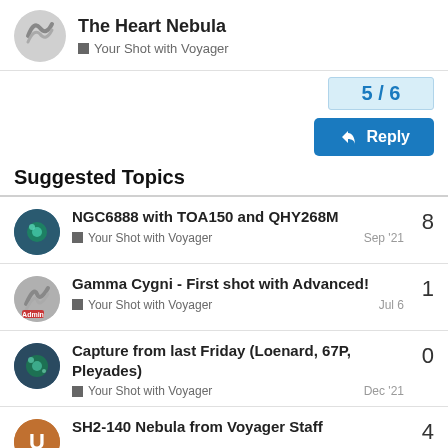The Heart Nebula — Your Shot with Voyager
5 / 6
Reply
Suggested Topics
NGC6888 with TOA150 and QHY268M — Your Shot with Voyager — Sep '21 — 8
Gamma Cygni - First shot with Advanced! — Your Shot with Voyager — Jul 6 — 1
Capture from last Friday (Loenard, 67P, Pleyades) — Your Shot with Voyager — Dec '21 — 0
SH2-140 Nebula from Voyager Staff — 4